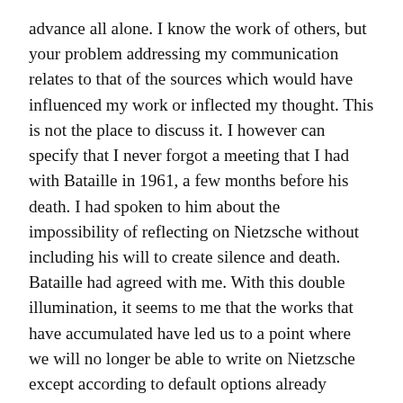advance all alone. I know the work of others, but your problem addressing my communication relates to that of the sources which would have influenced my work or inflected my thought. This is not the place to discuss it. I however can specify that I never forgot a meeting that I had with Bataille in 1961, a few months before his death. I had spoken to him about the impossibility of reflecting on Nietzsche without including his will to create silence and death. Bataille had agreed with me. With this double illumination, it seems to me that the works that have accumulated have led us to a point where we will no longer be able to write on Nietzsche except according to default options already rejected by him. Thus now we must use what was known so as to go beyond, to try to know finally what Nietzsche's logical discourse is to the extent that—you will grant me this much—Zarathustra, which is his fundamental book, has not explained what it wanted to say. To clear the ground for thematizing Zarathustra's logical discourse is a task